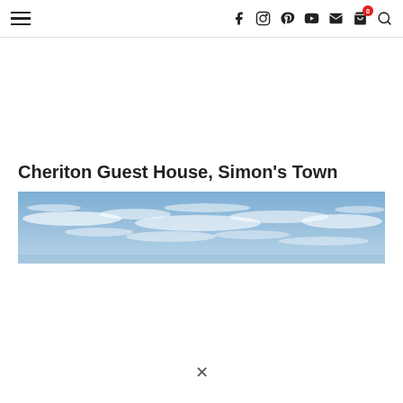Navigation bar with hamburger menu and social icons (f, Instagram, Pinterest, YouTube, mail, cart with badge 0, search)
Cheriton Guest House, Simon's Town
[Figure (photo): Wide panoramic photo of a blue sky with scattered wispy white clouds, appearing to show a coastal or scenic view from Simon's Town.]